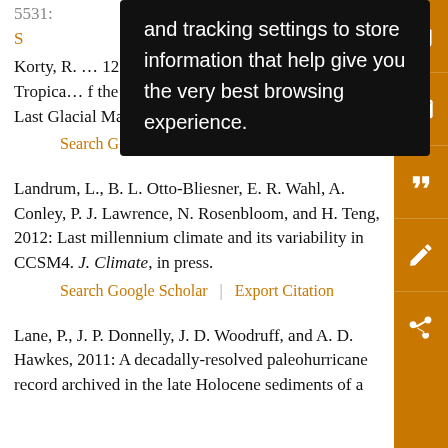and tracking settings to store information that help give you the very best browsing experience.
Korty, R... 2012: Tropical... of the Last Glacial Maximum. J. Climate, 25, 4348–4365.
Search Google Scholar | Export Citation
Landrum, L., B. L. Otto-Bliesner, E. R. Wahl, A. Conley, P. J. Lawrence, N. Rosenbloom, and H. Teng, 2012: Last millennium climate and its variability in CCSM4. J. Climate, in press.
Search Google Scholar | Export Citation
Lane, P., J. P. Donnelly, J. D. Woodruff, and A. D. Hawkes, 2011: A decadally-resolved paleohurricane record archived in the late Holocene sediments of a